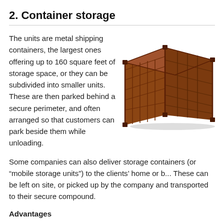2. Container storage
The units are metal shipping containers, the largest ones offering up to 160 square feet of storage space, or they can be subdivided into smaller units. These are then parked behind a secure perimeter, and often arranged so that customers can park beside them while unloading.
[Figure (photo): Photo of a brown metal shipping container, shown in 3/4 perspective view on a white background.]
Some companies can also deliver storage containers (or “mobile storage units”) to the clients’ home or b... These can be left on site, or picked up by the company and transported to their secure compound.
Advantages
Container storage is usually considerably cheaper than warehouse sto...